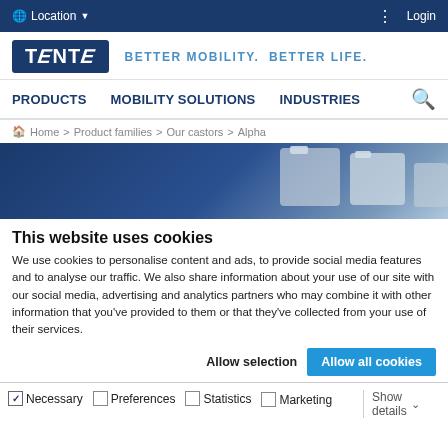Location  Login
[Figure (logo): TENTE logo with tagline: BETTER MOBILITY. BETTER LIFE.]
PRODUCTS  MOBILITY SOLUTIONS  INDUSTRIES
Home > Product families > Our castors > Alpha
[Figure (photo): Banner image showing castor/wheel products against a dark blue background]
This website uses cookies
We use cookies to personalise content and ads, to provide social media features and to analyse our traffic. We also share information about your use of our site with our social media, advertising and analytics partners who may combine it with other information that you've provided to them or that they've collected from your use of their services.
Allow selection  Allow all cookies
Necessary  Preferences  Statistics  Marketing  Show details